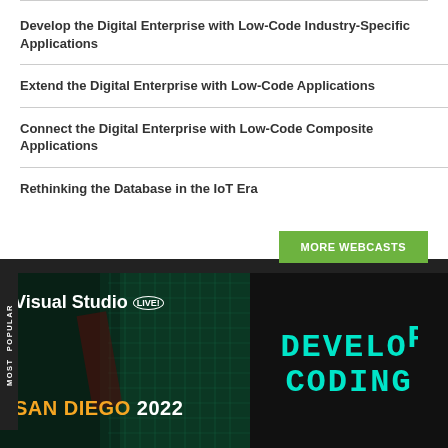Develop the Digital Enterprise with Low-Code Industry-Specific Applications
Extend the Digital Enterprise with Low-Code Applications
Connect the Digital Enterprise with Low-Code Composite Applications
Rethinking the Database in the IoT Era
MORE WEBCASTS
[Figure (screenshot): Visual Studio LIVE! San Diego 2022 advertisement banner on the left with teal background, and a dark right panel showing 'DEVELOP CODING' in cyan monospace text]